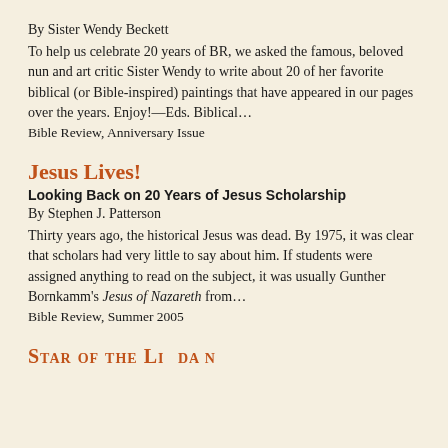By Sister Wendy Beckett
To help us celebrate 20 years of BR, we asked the famous, beloved nun and art critic Sister Wendy to write about 20 of her favorite biblical (or Bible-inspired) paintings that have appeared in our pages over the years. Enjoy!—Eds. Biblical…
Bible Review, Anniversary Issue
Jesus Lives!
Looking Back on 20 Years of Jesus Scholarship
By Stephen J. Patterson
Thirty years ago, the historical Jesus was dead. By 1975, it was clear that scholars had very little to say about him. If students were assigned anything to read on the subject, it was usually Gunther Bornkamm's Jesus of Nazareth from…
Bible Review, Summer 2005
Star of the Lidan